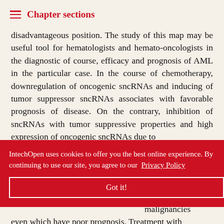Chapter sections
disadvantageous position. The study of this map may be useful tool for hematologists and hemato-oncologists in the diagnostic of course, efficacy and prognosis of AML in the particular case. In the course of chemotherapy, downregulation of oncogenic sncRNAs and inducing of tumor suppressor sncRNAs associates with favorable prognosis of disease. On the contrary, inhibition of sncRNAs with tumor suppressive properties and high expression of oncogenic sncRNAs due to
IntechOpen uses cookies to offer you the best online experience. By continuing to use our site, you agree to our Privacy Policy
Got it!
am of cells l for the malignancies even which have poor prognosis. Treatment with